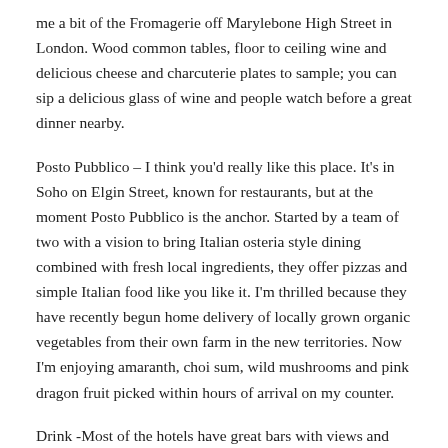me a bit of the Fromagerie off Marylebone High Street in London. Wood common tables, floor to ceiling wine and delicious cheese and charcuterie plates to sample; you can sip a delicious glass of wine and people watch before a great dinner nearby.
Posto Pubblico – I think you'd really like this place. It's in Soho on Elgin Street, known for restaurants, but at the moment Posto Pubblico is the anchor. Started by a team of two with a vision to bring Italian osteria style dining combined with fresh local ingredients, they offer pizzas and simple Italian food like you like it. I'm thrilled because they have recently begun home delivery of locally grown organic vegetables from their own farm in the new territories. Now I'm enjoying amaranth, choi sum, wild mushrooms and pink dragon fruit picked within hours of arrival on my counter.
Drink -Most of the hotels have great bars with views and quiet